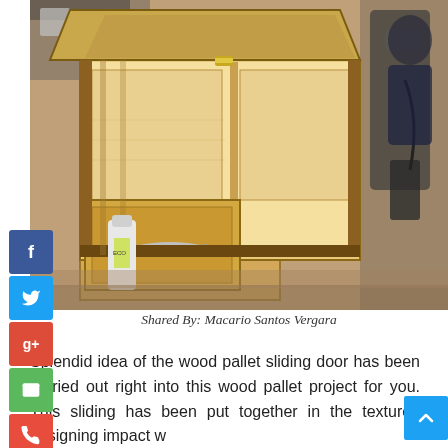[Figure (photo): A wooden pallet storage chest/box with open lid showing interior compartments and a sliding drawer with metal handle, photographed in a workshop setting with tools and supplies visible in the background.]
Shared By: Macario Santos Vergara
Splendid idea of the wood pallet sliding door has been carried out right into this wood pallet project for you. This sliding has been put together in the textured designing impact w